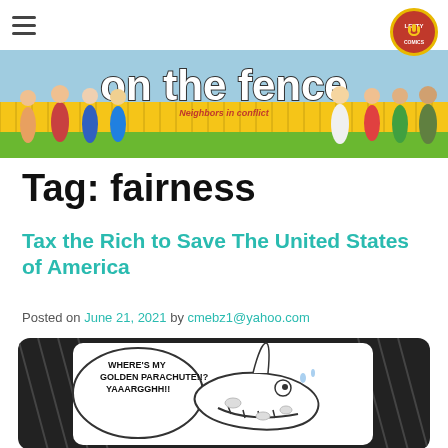[Figure (illustration): Navigation bar with hamburger menu icon on left and Lefty Comics circular logo on right]
[Figure (illustration): On The Fence webcomic banner showing cartoon characters standing near a yellow fence with the title 'on the fence' and subtitle 'Neighbors in conflict']
Tag: fairness
Tax the Rich to Save The United States of America
Posted on June 21, 2021 by cmebz1@yahoo.com
[Figure (illustration): Black and white comic panel showing a cartoon animal (alligator/crocodile) eating something while a speech bubble reads WHERE'S MY GOLDEN PARACHUTE!!? YAAARGGHH!!]